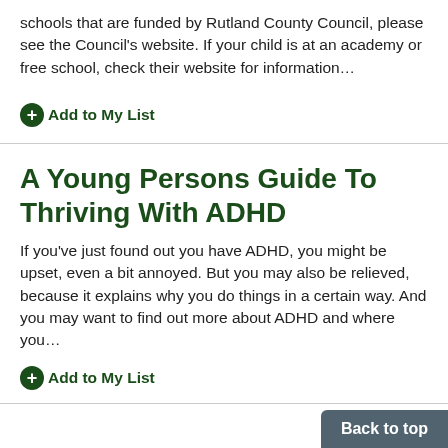schools that are funded by Rutland County Council, please see the Council's website. If your child is at an academy or free school, check their website for information…
+ Add to My List
A Young Persons Guide To Thriving With ADHD
If you've just found out you have ADHD, you might be upset, even a bit annoyed. But you may also be relieved, because it explains why you do things in a certain way. And you may want to find out more about ADHD and where you…
+ Add to My List
Back to top